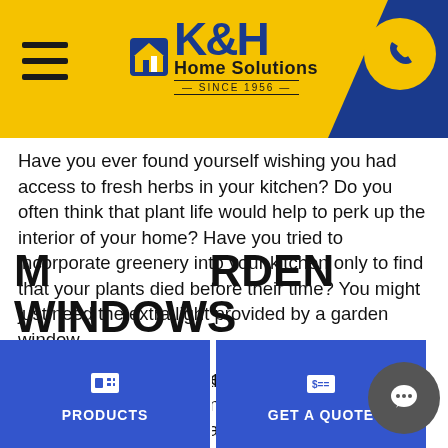[Figure (logo): K&H Home Solutions logo with house icon on yellow header bar with blue corner and phone icon]
Have you ever found yourself wishing you had access to fresh herbs in your kitchen? Do you often think that plant life would help to perk up the interior of your home? Have you tried to incorporate greenery into your kitchen only to find that your plants died before their time? You might just need the extra light provided by a garden window.
Garden windows are like a mini greenhouse combined with a bay window. With three glass walls, garden windows are the perfect way to grow fresh herbs, flowers, or anything else you wish you could bring in from the garden in your Denver, CO, home. Because of this, garden windows are especially popular in [n]... here in the ho...
M RDEN WINDOWS